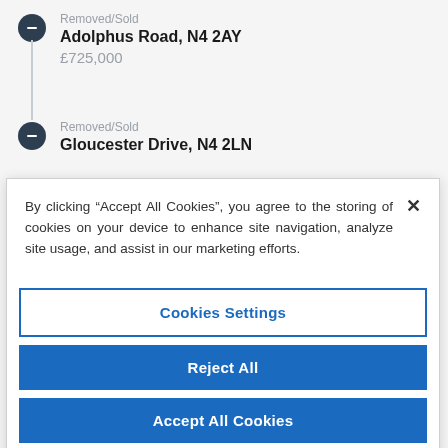Removed/Sold
Adolphus Road, N4 2AY
£725,000
Removed/Sold
Gloucester Drive, N4 2LN
By clicking “Accept All Cookies”, you agree to the storing of cookies on your device to enhance site navigation, analyze site usage, and assist in our marketing efforts.
Cookies Settings
Reject All
Accept All Cookies